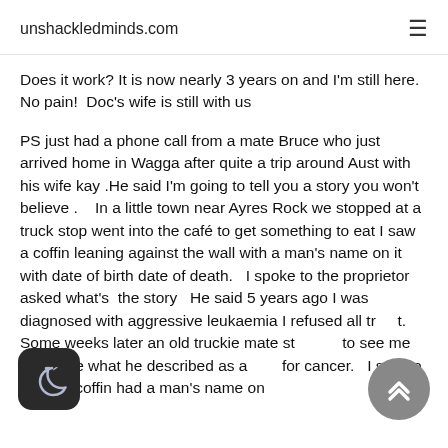unshackledminds.com
Does it work? It is now nearly 3 years on and I'm still here. No pain!  Doc's wife is still with us
PS just had a phone call from a mate Bruce who just arrived home in Wagga after quite a trip around Aust with his wife kay .He said I'm going to tell you a story you won't believe .   In a little town near Ayres Rock we stopped at a truck stop went into the café to get something to eat I saw a coffin leaning against the wall with a man's name on it with date of birth date of death.   I spoke to the proprietor asked what's  the story   He said 5 years ago I was diagnosed with aggressive leukaemia I refused all tr   t.    Some weeks later an old truckie mate st   to see me .gave me what he described as a   for cancer.   I said to him the coffin had a man's name on